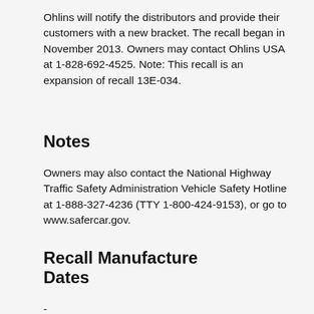Ohlins will notify the distributors and provide their customers with a new bracket. The recall began in November 2013. Owners may contact Ohlins USA at 1-828-692-4525. Note: This recall is an expansion of recall 13E-034.
Notes
Owners may also contact the National Highway Traffic Safety Administration Vehicle Safety Hotline at 1-888-327-4236 (TTY 1-800-424-9153), or go to www.safercar.gov.
Recall Manufacture Dates
-
Vehicles Affected